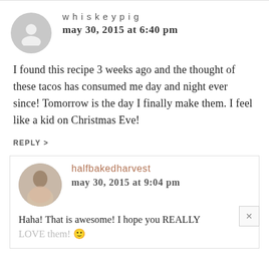[Figure (illustration): Gray circular avatar placeholder icon with silhouette of a person]
whiskeypig
may 30, 2015 at 6:40 pm
I found this recipe 3 weeks ago and the thought of these tacos has consumed me day and night ever since! Tomorrow is the day I finally make them. I feel like a kid on Christmas Eve!
REPLY >
[Figure (photo): Circular photo of halfbakedharvest blogger]
halfbakedharvest
may 30, 2015 at 9:04 pm
Haha! That is awesome! I hope you REALLY LOVE them! 🙂